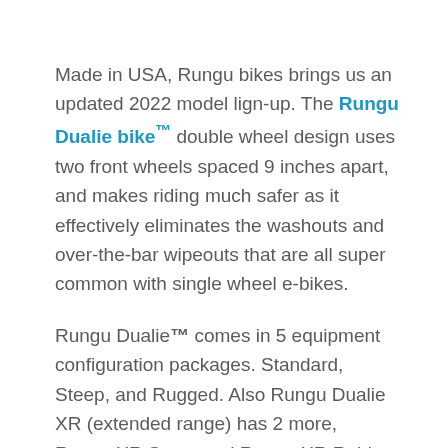Made in USA, Rungu bikes brings us an updated 2022 model lign-up. The Rungu Dualie bike™ double wheel design uses two front wheels spaced 9 inches apart, and makes riding much safer as it effectively eliminates the washouts and over-the-bar wipeouts that are all super common with single wheel e-bikes.
Rungu Dualie™ comes in 5 equipment configuration packages. Standard, Steep, and Rugged. Also Rungu Dualie XR (extended range) has 2 more, Rungu XR Steep and Rungu XR Rubicon Trail Edition. Rungu Dualie™ is available in three colors, Forest Green